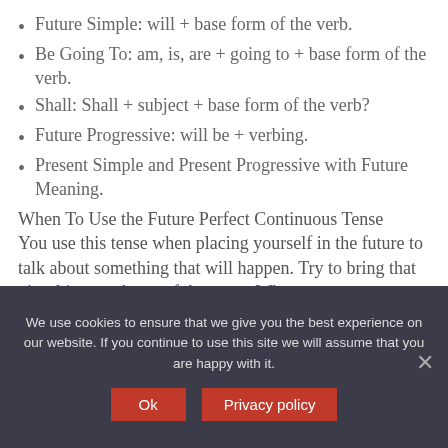Future Simple: will + base form of the verb.
Be Going To: am, is, are + going to + base form of the verb.
Shall: Shall + subject + base form of the verb?
Future Progressive: will be + verbing.
Present Simple and Present Progressive with Future Meaning.
When To Use the Future Perfect Continuous Tense
You use this tense when placing yourself in the future to talk about something that will happen. Try to bring that visual into each use of the tense. When
We use cookies to ensure that we give you the best experience on our website. If you continue to use this site we will assume that you are happy with it.